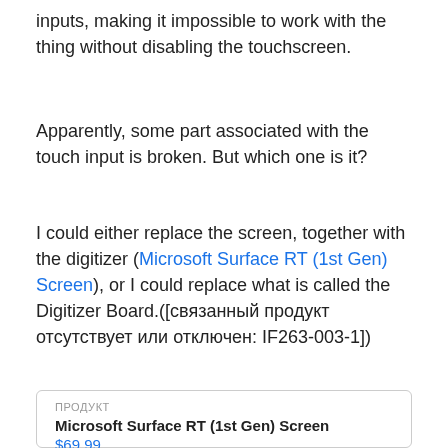inputs, making it impossible to work with the thing without disabling the touchscreen.
Apparently, some part associated with the touch input is broken. But which one is it?
I could either replace the screen, together with the digitizer (Microsoft Surface RT (1st Gen) Screen), or I could replace what is called the Digitizer Board.([связанный продукт отсутствует или отключен: IF263-003-1])
Do you guys have any experience with this? Which part causes the trouble? I have yet to find the answer on the Internet. I see people with the same issue though.
| ПРОДУКТ | Microsoft Surface RT (1st Gen) Screen | $69.99 |